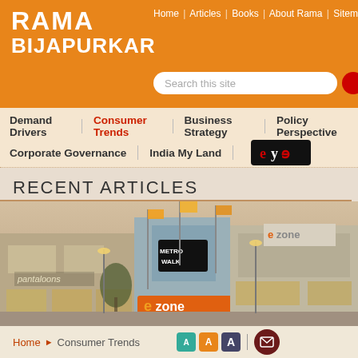Rama Bijapurkar | Home | Articles | Books | About Rama | Sitemap | Contact
Demand Drivers | Consumer Trends | Business Strategy | Policy Perspective | Corporate Governance | India My Land
RECENT ARTICLES
[Figure (photo): Shopping mall exterior showing Pantaloons, Metro Walk, and e-Zone stores at dusk/evening lighting]
Home ▶ Consumer Trends